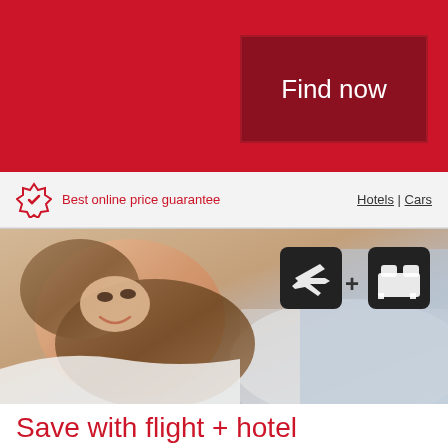Find now
Best online price guarantee
Hotels | Cars
[Figure (photo): Woman lying on hotel bed smiling, with flight and hotel icons overlay showing airplane icon + bed icon]
Save with flight + hotel
We have a suggestion for you: combine a hotel with your flights and enjoy our best packages prices.
Rome